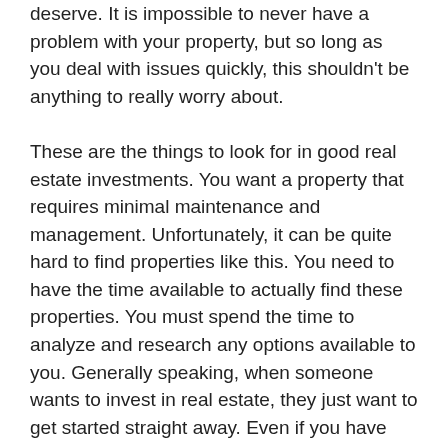deserve. It is impossible to never have a problem with your property, but so long as you deal with issues quickly, this shouldn't be anything to really worry about.
These are the things to look for in good real estate investments. You want a property that requires minimal maintenance and management. Unfortunately, it can be quite hard to find properties like this. You need to have the time available to actually find these properties. You must spend the time to analyze and research any options available to you. Generally speaking, when someone wants to invest in real estate, they just want to get started straight away. Even if you have been searching the market for a long time, you should never invest in a property that you are not sure about. Make a wrong decision in the world of real estate, and you stand to loose a great deal of money that you may never be